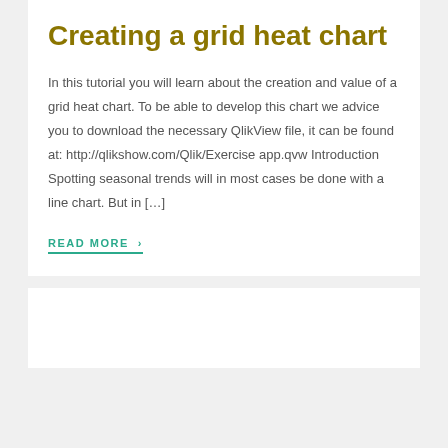Creating a grid heat chart
In this tutorial you will learn about the creation and value of a grid heat chart. To be able to develop this chart we advice you to download the necessary QlikView file, it can be found at: http://qlikshow.com/Qlik/Exercise app.qvw Introduction Spotting seasonal trends will in most cases be done with a line chart. But in […]
READ MORE ›